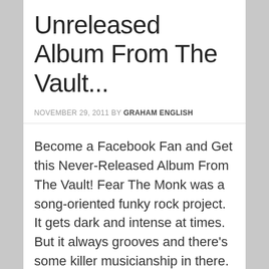Unreleased Album From The Vault...
NOVEMBER 29, 2011 BY GRAHAM ENGLISH
Become a Facebook Fan and Get this Never-Released Album From The Vault! Fear The Monk was a song-oriented funky rock project. It gets dark and intense at times. But it always grooves and there's some killer musicianship in there. It's … [Read more...]